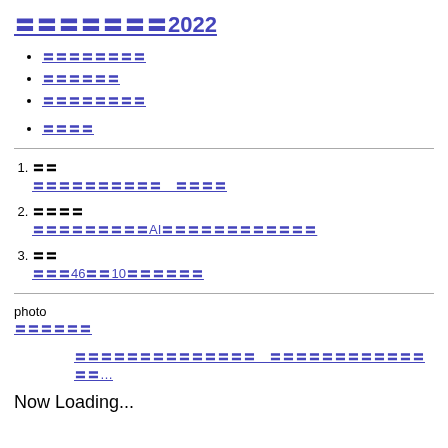〓〓〓〓〓〓〓2022
〓〓〓〓〓〓〓〓
〓〓〓〓〓〓
〓〓〓〓〓〓〓〓
〓〓〓〓
1. 〓〓
〓〓〓〓〓〓〓〓〓〓　〓〓〓〓
2. 〓〓〓〓
〓〓〓〓〓〓〓〓〓AI〓〓〓〓〓〓〓〓〓〓〓〓
3. 〓〓
〓〓〓46〓〓10〓〓〓〓〓〓
photo
〓〓〓〓〓〓
〓〓〓〓〓〓〓〓〓〓〓〓〓〓　〓〓〓〓〓〓〓〓〓〓〓〓〓〓…
Now Loading...